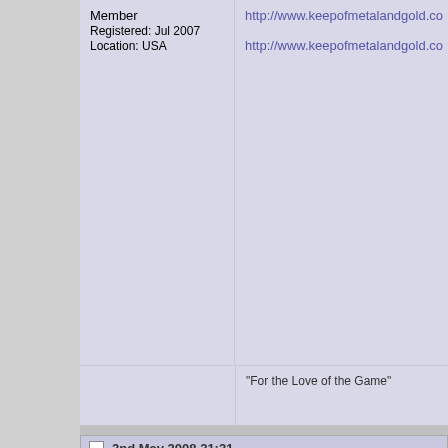Member
Registered: Jul 2007
Location: USA
http://www.keepofmetalandgold.co
http://www.keepofmetalandgold.co
"For the Love of the Game"
2nd May 2008 21:21
pavlovscat
Keeper of FMs
Registered: Oct 2004
Location: Rio Rancho, NM
Mirrors at Darklurker:
http://www.darklurker.com/T2X/m
http://www.darklurker.com/T2X/co
You guys sound surprisingly norma
Last edited by fett; 2nd May 2008
2nd May 2008 21:22